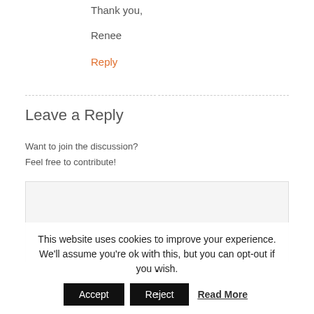Thank you,
Renee
Reply
Leave a Reply
Want to join the discussion?
Feel free to contribute!
This website uses cookies to improve your experience. We'll assume you're ok with this, but you can opt-out if you wish.
Accept | Reject | Read More